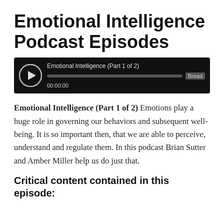Emotional Intelligence Podcast Episodes
[Figure (screenshot): Audio player widget with black background showing play button, track title 'Emotional Intelligence (Part 1 of 2)', a progress bar, and timestamp '00:00:00' with a 'Bread' overlay label.]
Emotional Intelligence (Part 1 of 2) Emotions play a huge role in governing our behaviors and subsequent well-being. It is so important then, that we are able to perceive, understand and regulate them. In this podcast Brian Sutter and Amber Miller help us do just that.
Critical content contained in this episode: